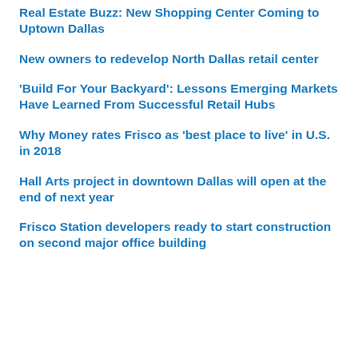Real Estate Buzz: New Shopping Center Coming to Uptown Dallas
New owners to redevelop North Dallas retail center
'Build For Your Backyard': Lessons Emerging Markets Have Learned From Successful Retail Hubs
Why Money rates Frisco as 'best place to live' in U.S. in 2018
Hall Arts project in downtown Dallas will open at the end of next year
Frisco Station developers ready to start construction on second major office building